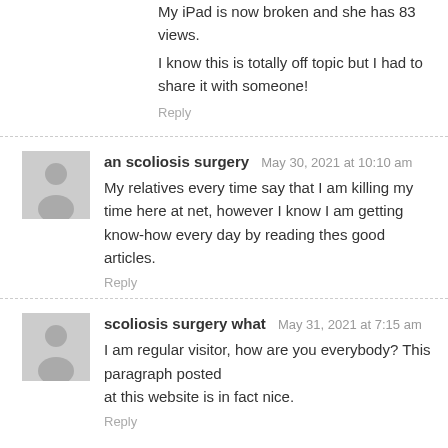My iPad is now broken and she has 83 views. I know this is totally off topic but I had to share it with someone!
Reply
an scoliosis surgery  May 30, 2021 at 10:10 am
My relatives every time say that I am killing my time here at net, however I know I am getting know-how every day by reading thes good articles.
Reply
scoliosis surgery what  May 31, 2021 at 7:15 am
I am regular visitor, how are you everybody? This paragraph posted at this website is in fact nice.
Reply